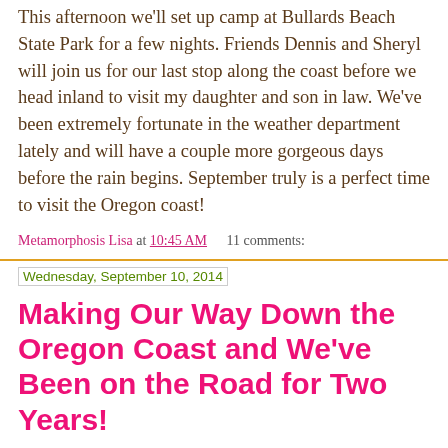This afternoon we'll set up camp at Bullards Beach State Park for a few nights. Friends Dennis and Sheryl will join us for our last stop along the coast before we head inland to visit my daughter and son in law. We've been extremely fortunate in the weather department lately and will have a couple more gorgeous days before the rain begins. September truly is a perfect time to visit the Oregon coast!
Metamorphosis Lisa at 10:45 AM    11 comments:
Wednesday, September 10, 2014
Making Our Way Down the Oregon Coast and We've Been on the Road for Two Years!
Summer may be winding down but you wouldn't think so along the Oregon coast. The State Parks are still full on the weekends as folks try to get some beach time before the rain comes again. The the the and the and to and